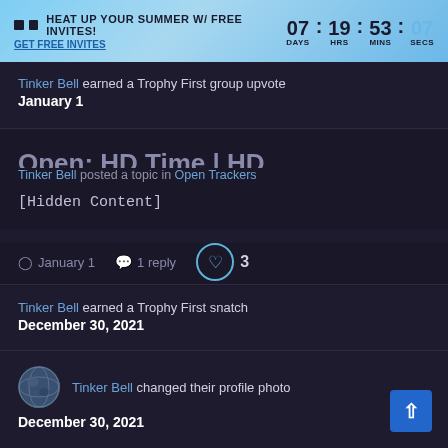🔥 HEAT UP YOUR SUMMER W/ FREE INVITES! GET FREE INVITES  07 : 19 : 53 : 07  DAYS HRS MINS SECS
Tinker Bell earned a Trophy First group upvote
January 1
Open: HD Time | HD
Tinker Bell posted a topic in Open Trackers
[Hidden Content]
January 1  1 reply  3
Tinker Bell earned a Trophy First snatch
December 30, 2021
Tinker Bell changed their profile photo
December 30, 2021